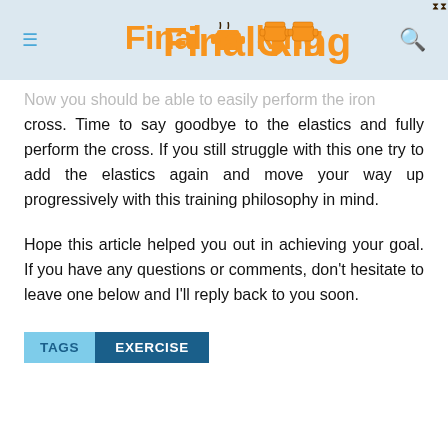FinalCooking
Now you should be able to easily perform the iron cross. Time to say goodbye to the elastics and fully perform the cross. If you still struggle with this one try to add the elastics again and move your way up progressively with this training philosophy in mind.
Hope this article helped you out in achieving your goal. If you have any questions or comments, don't hesitate to leave one below and I'll reply back to you soon.
TAGS  EXERCISE